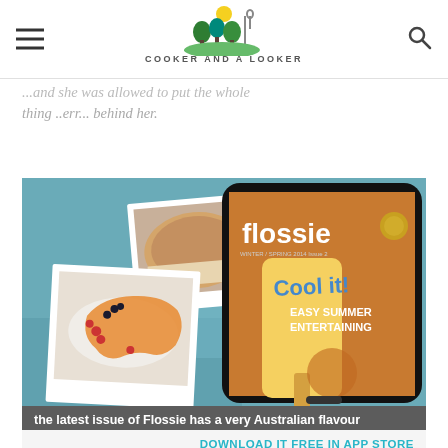COOKER AND A LOOKER
...and she was allowed to put the whole thing ..err... behind her.
[Figure (screenshot): Flossie magazine promotional banner with food photos and tablet showing 'flossie' magazine cover with 'Cool it! Easy Summer Entertaining' headline. Teal/blue background with polaroid-style food images on left and tablet on right.]
the latest issue of Flossie has a very Australian flavour
DOWNLOAD IT FREE IN APP STORE